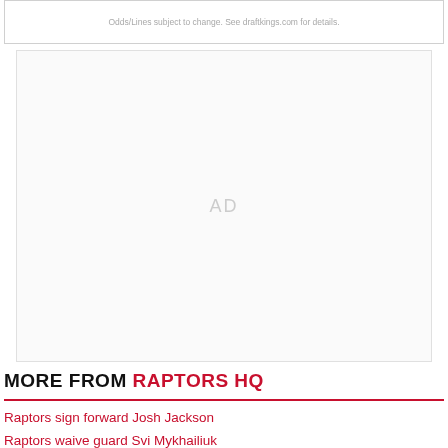Odds/Lines subject to change. See draftkings.com for details.
[Figure (other): Advertisement placeholder box with 'AD' label in center]
MORE FROM RAPTORS HQ
Raptors sign forward Josh Jackson
Raptors waive guard Svi Mykhailiuk